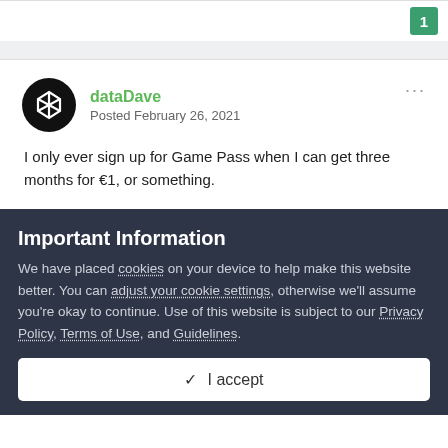1
[Figure (illustration): Avatar icon for user dataDave — black circle with a white geometric/arrow logo]
dataDave
Posted February 26, 2021
I only ever sign up for Game Pass when I can get three months for €1, or something.
Important Information
We have placed cookies on your device to help make this website better. You can adjust your cookie settings, otherwise we'll assume you're okay to continue. Use of this website is subject to our Privacy Policy, Terms of Use, and Guidelines.
✓  I accept